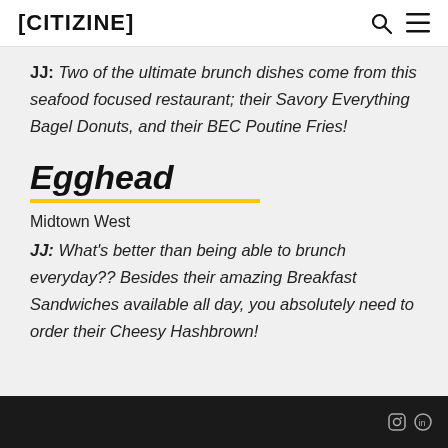[CITIZINE]
JJ: Two of the ultimate brunch dishes come from this seafood focused restaurant; their Savory Everything Bagel Donuts, and their BEC Poutine Fries!
Egghead
Midtown West
JJ: What's better than being able to brunch everyday?? Besides their amazing Breakfast Sandwiches available all day, you absolutely need to order their Cheesy Hashbrown!